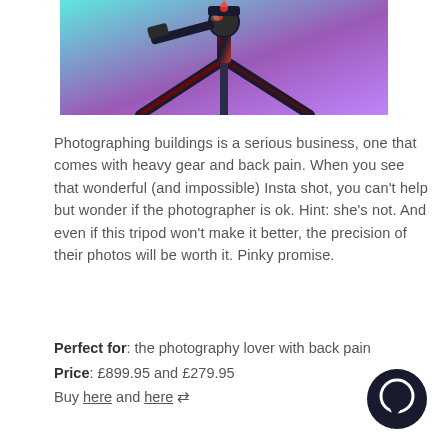[Figure (photo): A black and red camera tripod/ballhead photographed against a teal and purple gradient background, viewed from a low angle.]
Photographing buildings is a serious business, one that comes with heavy gear and back pain. When you see that wonderful (and impossible) Insta shot, you can't help but wonder if the photographer is ok. Hint: she's not. And even if this tripod won't make it better, the precision of their photos will be worth it. Pinky promise.
Perfect for: the photography lover with back pain
Price: £899.95 and £279.95
Buy here and here ⇄